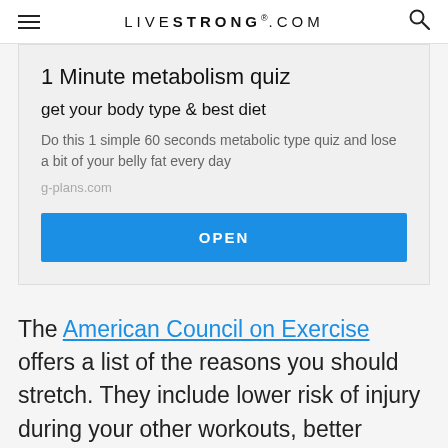LIVESTRONG.COM
[Figure (infographic): Advertisement card with title '1 Minute metabolism quiz', subtitle 'get your body type & best diet', body text about metabolic type quiz, domain 'g-plans.com', and a blue OPEN button]
The American Council on Exercise offers a list of the reasons you should stretch. They include lower risk of injury during your other workouts, better muscular function, decreased stress, better range of motion,